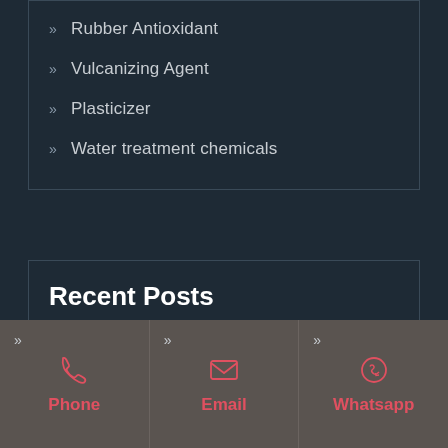Rubber Antioxidant
Vulcanizing Agent
Plasticizer
Water treatment chemicals
Recent Posts
looking for rubber accelerator zdec for
Phone
Email
Whatsapp